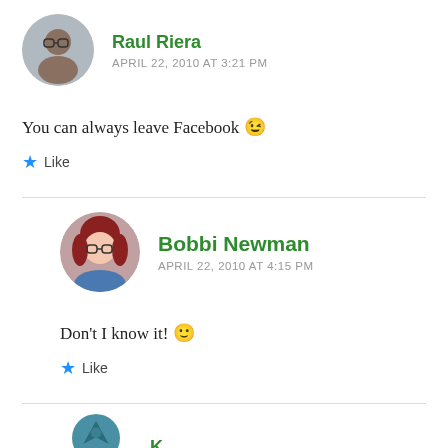Raul Riera
APRIL 22, 2010 AT 3:21 PM
You can always leave Facebook 😉
Like
Bobbi Newman
APRIL 22, 2010 AT 4:15 PM
Don't I know it! 🙂
Like
[Figure (photo): Partial avatar of a third commenter visible at bottom]